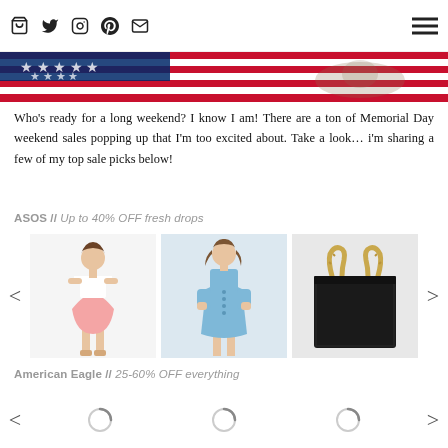[icons: bag, twitter, instagram, pinterest, email] [hamburger menu]
[Figure (photo): American flag banner/strip image at top]
Who’s ready for a long weekend? I know I am! There are a ton of Memorial Day weekend sales popping up that I’m too excited about. Take a look… i’m sharing a few of my top sale picks below!
ASOS // Up to 40% OFF fresh drops
[Figure (photo): Carousel of three product images: (1) woman in white off-shoulder top and pink mini skirt, (2) woman in light blue button-front short dress, (3) black leather tote bag with gold bamboo handles. Left and right carousel navigation arrows visible.]
American Eagle // 25-60% OFF everything
[Figure (photo): Second carousel row showing loading spinners (three circular loading indicators) with left and right navigation arrows, content not yet loaded.]